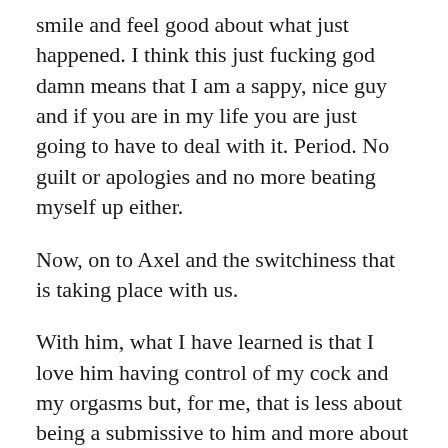smile and feel good about what just happened. I think this just fucking god damn means that I am a sappy, nice guy and if you are in my life you are just going to have to deal with it. Period. No guilt or apologies and no more beating myself up either.
Now, on to Axel and the switchiness that is taking place with us.
With him, what I have learned is that I love him having control of my cock and my orgasms but, for me, that is less about being a submissive to him and more about giving him a gift that he enjoys having as a form of a tribute to him for our many, many years together and for all the amazing things he has given to me through the years, including the ability to have a boyfriend on the side. Unlike many of my locked friends in a same sex scenario, when he unlocks me it is because he is ready to